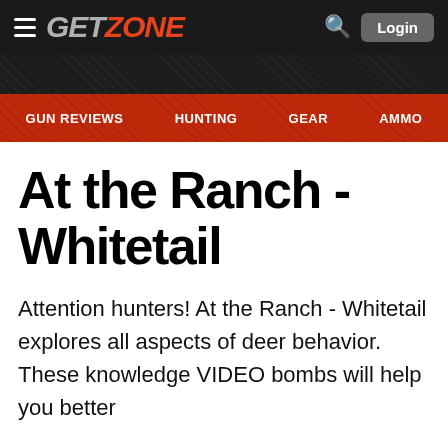GET ZONE — Login
GUN REVIEWS   HUNTING   GEAR   AMMO
At the Ranch - Whitetail
Attention hunters! At the Ranch - Whitetail explores all aspects of deer behavior. These knowledge VIDEO bombs will help you better